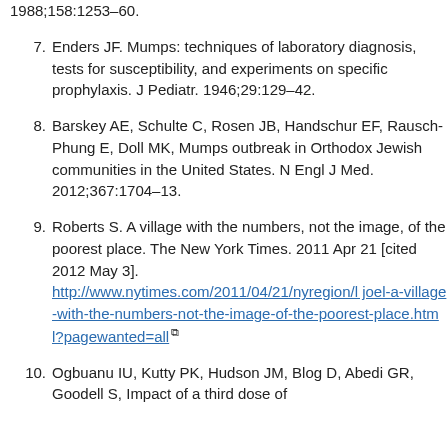1988;158:1253–60.
7. Enders JF. Mumps: techniques of laboratory diagnosis, tests for susceptibility, and experiments on specific prophylaxis. J Pediatr. 1946;29:129–42.
8. Barskey AE, Schulte C, Rosen JB, Handschur EF, Rausch-Phung E, Doll MK, Mumps outbreak in Orthodox Jewish communities in the United States. N Engl J Med. 2012;367:1704–13.
9. Roberts S. A village with the numbers, not the image, of the poorest place. The New York Times. 2011 Apr 21 [cited 2012 May 3]. http://www.nytimes.com/2011/04/21/nyregion/l joel-a-village-with-the-numbers-not-the-image-of-the-poorest-place.html?pagewanted=all
10. Ogbuanu IU, Kutty PK, Hudson JM, Blog D, Abedi GR, Goodell S, Impact of a third dose of